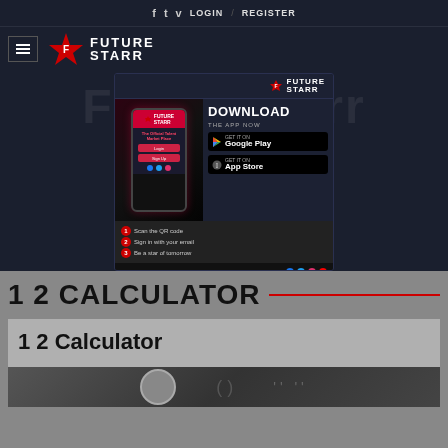f  t  v  LOGIN  /  REGISTER
[Figure (logo): FutureStarr logo with star icon and hamburger menu]
[Figure (advertisement): FutureStarr app download advertisement showing smartphone with app, Download the App Now, Google Play and App Store buttons, QR code, www.futurestarr.com]
1 2 CALCULATOR
1 2 Calculator
[Figure (photo): Partial photo visible at bottom of page showing a person near a calculator]